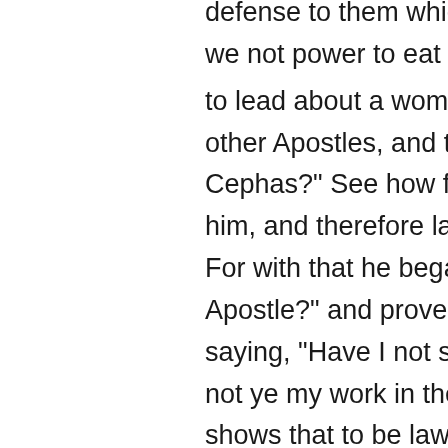defense to them which interrogate me is this. Have we not power to eat and to drink? Have we not power to lead about a woman who is a sister,13 as also the other Apostles, and the brethren of the Lord, and Cephas?" See how first he shows what is lawful to him, and therefore lawful for that he is an Apostle. For with that he began, "Am I not free? am I not an Apostle?" and proves himself to be an Apostle, saying, "Have I not seen Christ Jesus our Lord? Are not ye my work in the Lord" Which being proved, he shows that to be lawful to him which was so